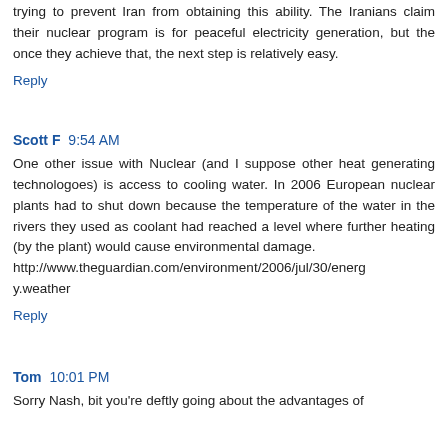trying to prevent Iran from obtaining this ability. The Iranians claim their nuclear program is for peaceful electricity generation, but the once they achieve that, the next step is relatively easy.
Reply
Scott F 9:54 AM
One other issue with Nuclear (and I suppose other heat generating technologoes) is access to cooling water. In 2006 European nuclear plants had to shut down because the temperature of the water in the rivers they used as coolant had reached a level where further heating (by the plant) would cause environmental damage. http://www.theguardian.com/environment/2006/jul/30/energy.weather
Reply
Tom 10:01 PM
Sorry Nash, bit you're deftly going about the advantages of